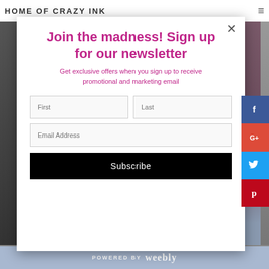HOME OF CRAZY INK
Join the madness! Sign up for our newsletter
Get exclusive offers when you sign up to receive promotional and marketing email
[Figure (screenshot): Newsletter signup form with First, Last, and Email Address input fields and a Subscribe button]
[Figure (infographic): Social media share buttons: Facebook, Google+, Twitter, Pinterest]
POWERED BY weebly